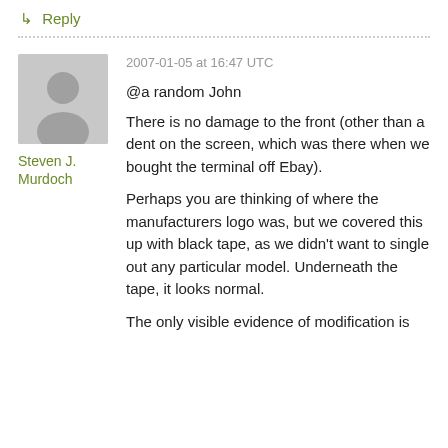↳ Reply
2007-01-05 at 16:47 UTC
@a random John
Steven J. Murdoch
There is no damage to the front (other than a dent on the screen, which was there when we bought the terminal off Ebay).
Perhaps you are thinking of where the manufacturers logo was, but we covered this up with black tape, as we didn't want to single out any particular model. Underneath the tape, it looks normal.
The only visible evidence of modification is